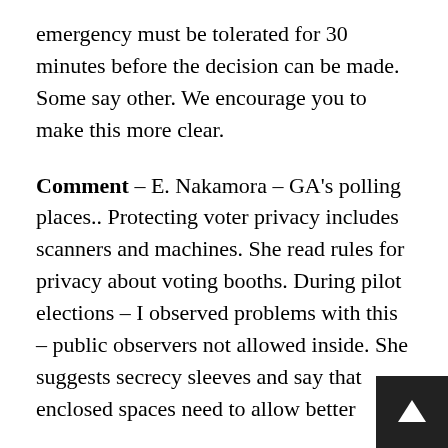emergency must be tolerated for 30 minutes before the decision can be made. Some say other. We encourage you to make this more clear.
Comment – E. Nakamora – GA's polling places.. Protecting voter privacy includes scanners and machines. She read rules for privacy about voting booths. During pilot elections – I observed problems with this – public observers not allowed inside. She suggests secrecy sleeves and say that enclosed spaces need to allow better
Comment – S. Roberts – candidate and Sandy Springs voter – what kind of certification testing has been done that votes cast on new tablets can be seen from 20 feet away. They fail at most basic level to ensure privacy. As a candidate this affects me personally. Help America Vote Act – not compliant. How can you watch these noncompliant machines be rolled out. It's a serious